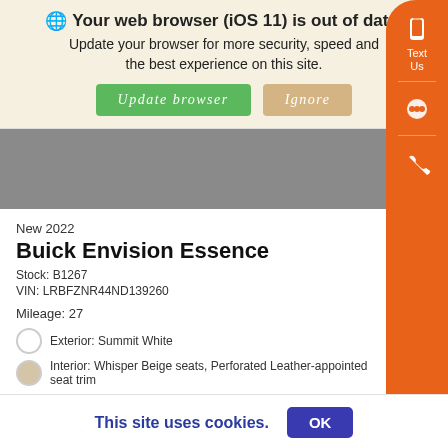🌐 Your web browser (iOS 11) is out of date. Update your browser for more security, speed and the best experience on this site. [Update browser] [Ignore]
[Figure (screenshot): Gray car image placeholder area]
New 2022
Buick Envision Essence
Stock: B1267
VIN: LRBFZNR44ND139260
Mileage: 27
Exterior: Summit White
Interior: Whisper Beige seats, Perforated Leather-appointed seat trim
Value Your Trade
⊕Details
MSRP $35,995
This site uses cookies. OK